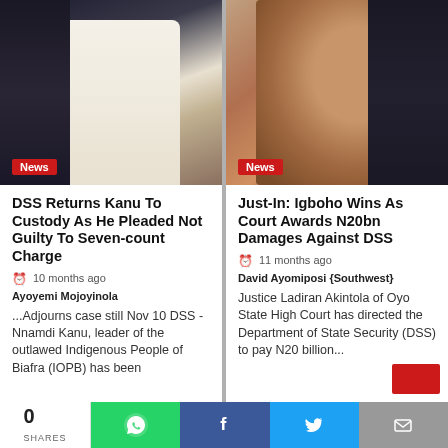[Figure (photo): Photo of Nnamdi Kanu being led to custody, man in white clothing surrounded by dark-suited officials. News badge overlay reads 'News'.]
[Figure (photo): Close-up photo of Sunday Igboho, a man with dark skin looking distressed. News badge overlay reads 'News'.]
DSS Returns Kanu To Custody As He Pleaded Not Guilty To Seven-count Charge
10 months ago  Ayoyemi Mojoyinola
...Adjourns case still Nov 10 DSS - Nnamdi Kanu, leader of the outlawed Indigenous People of Biafra (IOPB) has been
Just-In: Igboho Wins As Court Awards N20bn Damages Against DSS
11 months ago  David Ayomiposi {Southwest}
Justice Ladiran Akintola of Oyo State High Court has directed the Department of State Security (DSS) to pay N20 billion...
0 SHARES